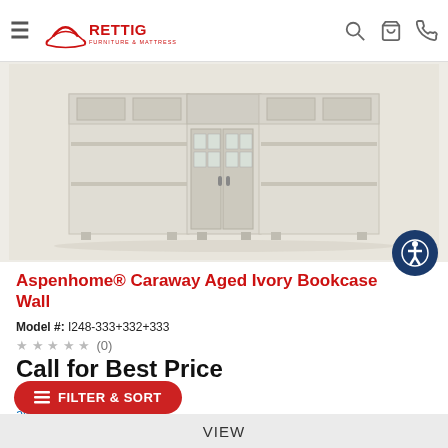Rettig Furniture & Mattress — navigation header with logo, hamburger menu, search, cart, and phone icons
[Figure (photo): Aspenhome Caraway Aged Ivory Bookcase Wall — a wide, low bookcase with glass-front center cabinet doors and open shelving on sides, in aged ivory/cream finish]
Aspenhome® Caraway Aged Ivory Bookcase Wall
Model #: I248-333+332+333
★★★★★ (0)
Call for Best Price
Protection Plans Available
await time!
FILTER & SORT
VIEW